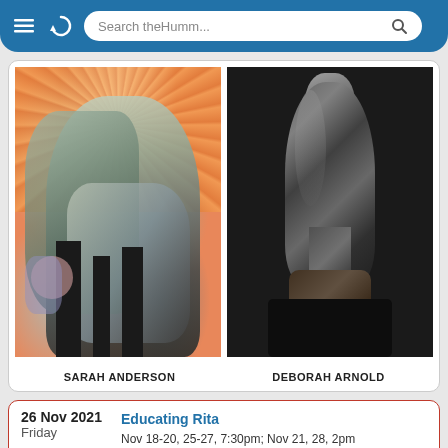[Figure (screenshot): Browser navigation bar with hamburger menu icon, refresh icon, and search bar reading 'Search theHumm...']
[Figure (photo): Abstract painting by Sarah Anderson with orange radiating background and figurative forms in greens and greys]
SARAH ANDERSON
[Figure (photo): Dark sculpture by Deborah Arnold, elongated abstract bronze-like form on a wooden base against black background]
DEBORAH ARNOLD
26 Nov 2021
Friday
Educating Rita
Nov 18-20, 25-27, 7:30pm; Nov 21, 28, 2pm
studiotheatreperth.com. Tix: $24 at
ticketsplease.ca. This modern Pygmalion comedy follows Rita, a married hairstylist in her 30s, who decides to go back to school